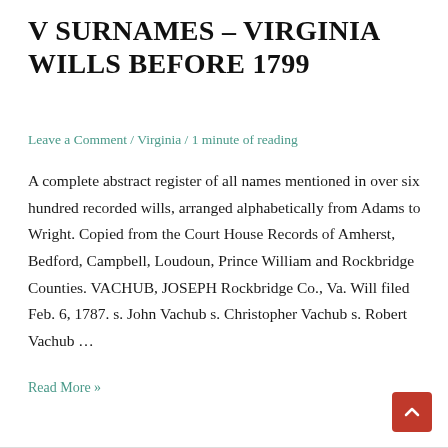V SURNAMES – VIRGINIA WILLS BEFORE 1799
Leave a Comment / Virginia / 1 minute of reading
A complete abstract register of all names mentioned in over six hundred recorded wills, arranged alphabetically from Adams to Wright. Copied from the Court House Records of Amherst, Bedford, Campbell, Loudoun, Prince William and Rockbridge Counties. VACHUB, JOSEPH Rockbridge Co., Va. Will filed Feb. 6, 1787. s. John Vachub s. Christopher Vachub s. Robert Vachub …
Read More »